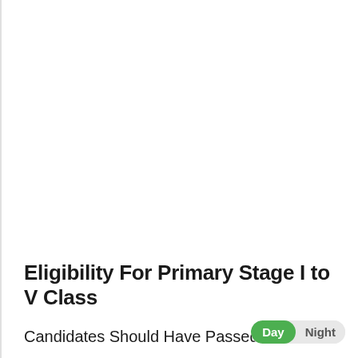Eligibility For Primary Stage I to V Class
Candidates Should Have Passed 10-8...